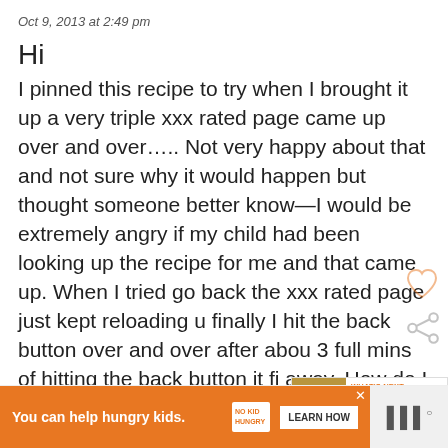Oct 9, 2013 at 2:49 pm
Hi
I pinned this recipe to try when I brought it up a very triple xxx rated page came up over and over….. Not very happy about that and not sure why it would happen but thought someone better know—I would be extremely angry if my child had been looking up the recipe for me and that came up. When I tried go back the xxx rated page just kept reloading u finally I hit the back button over and over after about 3 full mins of hitting the back button it finally went away. How do I prevent this from happening again?
[Figure (infographic): Ad banner: orange background with 'You can help hungry kids.' text, No Kid Hungry logo, LEARN HOW button, close X, and wifi-style icon on right]
[Figure (infographic): What's Next overlay box with food image thumbnail and 'Crispy Pork Carnitas wit...' text]